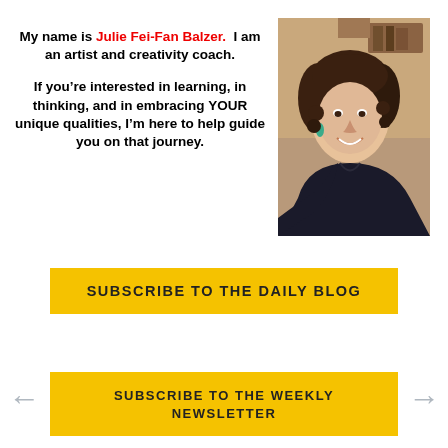My name is Julie Fei-Fan Balzer. I am an artist and creativity coach. If you're interested in learning, in thinking, and in embracing YOUR unique qualities, I'm here to help guide you on that journey.
[Figure (photo): Photo of Julie Fei-Fan Balzer, a smiling woman with curly brown hair wearing a dark top and teal earrings]
SUBSCRIBE TO THE DAILY BLOG
SUBSCRIBE TO THE WEEKLY NEWSLETTER